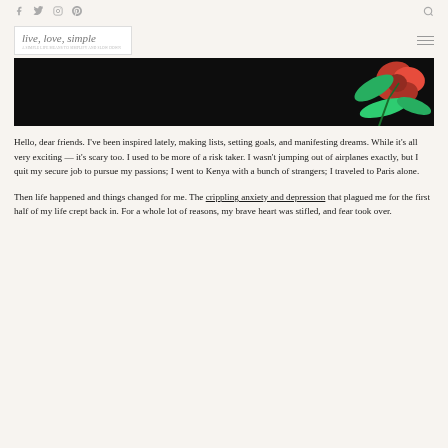Social icons (Facebook, Twitter, Instagram, Pinterest) and search icon
[Figure (logo): live, love, simple blog logo in cursive script inside a white rectangle with a subtitle tagline]
[Figure (photo): Dark black background hero banner image with a red flower and green leaves on the right side]
Hello, dear friends. I've been inspired lately, making lists, setting goals, and manifesting dreams. While it's all very exciting — it's scary too. I used to be more of a risk taker. I wasn't jumping out of airplanes exactly, but I quit my secure job to pursue my passions; I went to Kenya with a bunch of strangers; I traveled to Paris alone.
Then life happened and things changed for me. The crippling anxiety and depression that plagued me for the first half of my life crept back in. For a whole lot of reasons, my brave heart was stifled, and fear took over.